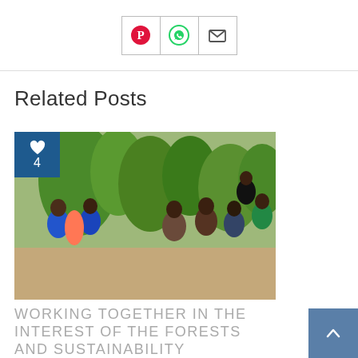[Figure (other): Social share buttons: Pinterest (red heart/P icon), WhatsApp (green phone icon), Email (envelope icon), arranged horizontally in bordered boxes]
Related Posts
[Figure (photo): Outdoor group photo: several people sitting in a circle outdoors among tropical plants, appearing to have a community meeting. A blue likes badge overlay in top-left shows a heart icon and the number 4.]
WORKING TOGETHER IN THE INTEREST OF THE FORESTS AND SUSTAINABILITY